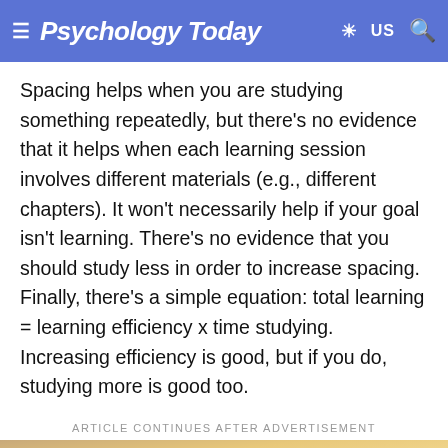Psychology Today
Spacing helps when you are studying something repeatedly, but there's no evidence that it helps when each learning session involves different materials (e.g., different chapters). It won't necessarily help if your goal isn't learning. There's no evidence that you should study less in order to increase spacing. Finally, there's a simple equation: total learning = learning efficiency x time studying. Increasing efficiency is good, but if you do, studying more is good too.
ARTICLE CONTINUES AFTER ADVERTISEMENT
[Figure (photo): Bottom strip of an advertisement image showing warm golden/tan tones with an orange circular element at the bottom center.]